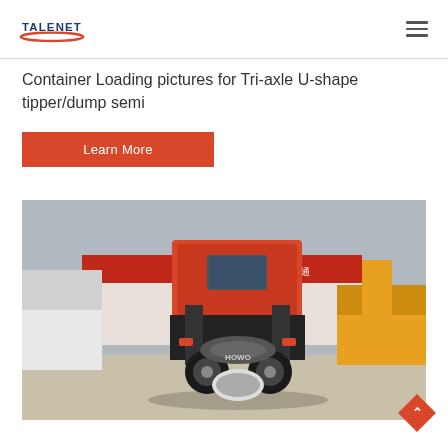[Figure (logo): TALENET brand logo with red swoosh and blue text]
Container Loading pictures for Tri-axle U-shape tipper/dump semi
Learn More
[Figure (photo): Rear view of a red HOWO truck tractor in a yard with a HOWO dealership banner and yellow construction equipment in background]